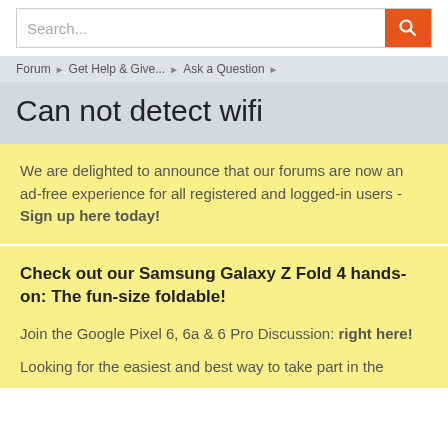Search...
Forum > Get Help & Give... > Ask a Question
Can not detect wifi
We are delighted to announce that our forums are now an ad-free experience for all registered and logged-in users - Sign up here today!
Check out our Samsung Galaxy Z Fold 4 hands-on: The fun-size foldable!

Join the Google Pixel 6, 6a & 6 Pro Discussion: right here!

Looking for the easiest and best way to take part in the